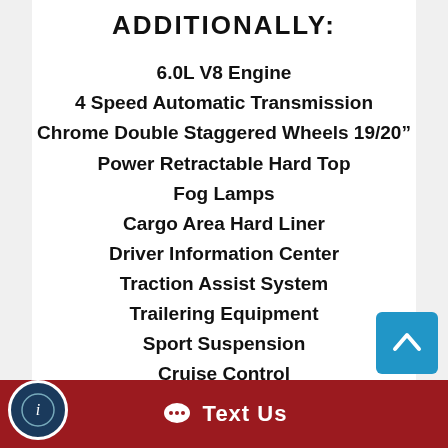ADDITIONALLY:
6.0L V8 Engine
4 Speed Automatic Transmission
Chrome Double Staggered Wheels 19/20"
Power Retractable Hard Top
Fog Lamps
Cargo Area Hard Liner
Driver Information Center
Traction Assist System
Trailering Equipment
Sport Suspension
Cruise Control
Keyless Entry Remote
Floor Mats
Text Us